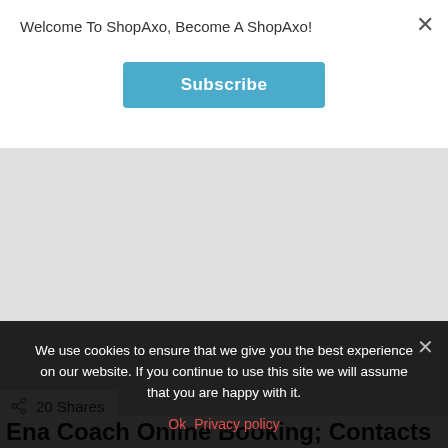Welcome To ShopAxo, Become A ShopAxo!
Subscribe
[Figure (other): Gray placeholder image area for an article thumbnail]
20 Shares
Ena Coach Online Booking; Contacts and
We use cookies to ensure that we give you the best experience on our website. If you continue to use this site we will assume that you are happy with it.
Ok Privacy policy